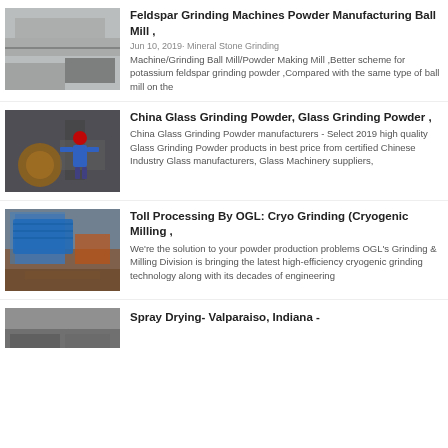[Figure (photo): Industrial manufacturing facility with large machinery and conveyor belt]
Feldspar Grinding Machines Powder Manufacturing Ball Mill ,
Jun 10, 2019· Mineral Stone Grinding Machine/Grinding Ball Mill/Powder Making Mill ,Better scheme for potassium feldspar grinding powder ,Compared with the same type of ball mill on the
[Figure (photo): Worker in blue uniform and red helmet operating industrial grinding machinery]
China Glass Grinding Powder, Glass Grinding Powder ,
China Glass Grinding Powder manufacturers - Select 2019 high quality Glass Grinding Powder products in best price from certified Chinese Industry Glass manufacturers, Glass Machinery suppliers,
[Figure (photo): Industrial equipment with blue tarp covering, mill processing machinery]
Toll Processing By OGL: Cryo Grinding (Cryogenic Milling ,
We're the solution to your powder production problems OGL's Grinding & Milling Division is bringing the latest high-efficiency cryogenic grinding technology along with its decades of engineering
[Figure (photo): Industrial machinery partially visible at bottom of page]
Spray Drying- Valparaiso, Indiana -